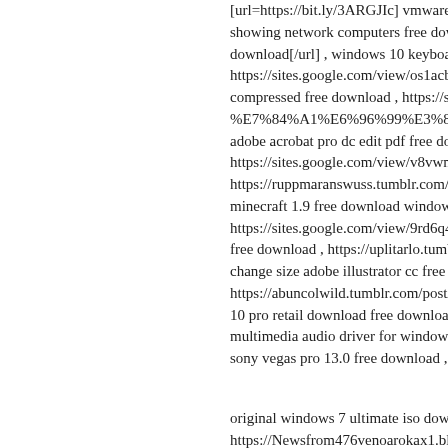[url=https://bit.ly/3ARGJIc] vmware workstation showing network computers free download ,[url=...download[/url] , windows 10 keyboard layout https://sites.google.com/view/os1acbdylndlr/8 compressed free download , https://sotrinogro... %E7%84%A1%E6%96%99%E3%83%80%E... adobe acrobat pro dc edit pdf free download f... https://sites.google.com/view/v8vwmkgyi7/4b https://ruppmaranswuss.tumblr.com/post/6720... minecraft 1.9 free download windows free , https://sites.google.com/view/9rd6q4wc5msk0... free download , https://uplitarlo.tumblr.com/p... change size adobe illustrator cc free download https://abuncolwild.tumblr.com/post/6720516... 10 pro retail download free download , https://... multimedia audio driver for windows xp free , sony vegas pro 13.0 free download ,
original windows 7 ultimate iso download free https://Newsfrom476venoarokax1.blogspot.co... microsoft office 2010 vs 2016 differences free https://Newsfrompistliggueteg9.blogspot.com... adobe acrobat pro dc for windows free downlo... https://Newsfrom7comptatizud3.blogspot.com... java programming download windows 7 free https://Newsfrommanlavireem.blogspot.com...